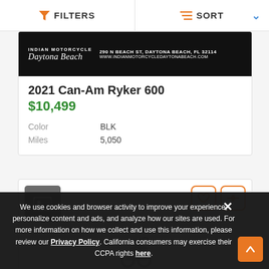FILTERS   SORT
[Figure (photo): Indian Motorcycle Daytona Beach dealer banner: black background with text '290 N BEACH ST, DAYTONA BEACH, FL 32114' and 'www.INDIANMOTORCYCLEDAYTONABEACH.COM']
2021 Can-Am Ryker 600
$10,499
| Color | BLK |
| Miles | 5,050 |
[Figure (screenshot): Vehicle listing card with gray image placeholder icon, heart/favorite button and compare button in orange outline style, and partial motorcycle silhouette in gray]
We use cookies and browser activity to improve your experience, personalize content and ads, and analyze how our sites are used. For more information on how we collect and use this information, please review our Privacy Policy. California consumers may exercise their CCPA rights here.